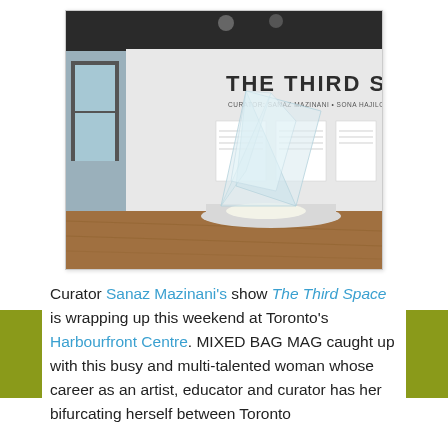[Figure (photo): Interior of an art gallery showing 'The Third Space' exhibition. A large translucent sculptural installation (resembling crumpled plastic or glass sheets forming a tent-like shape) sits on a white platform on a wood floor. On the white back wall is large text reading 'THE THIRD SPACE' and several framed panels of text. Track lighting on a dark ceiling illuminates the space. A window to the left shows an exterior view.]
Curator Sanaz Mazinani's show The Third Space is wrapping up this weekend at Toronto's Harbourfront Centre. MIXED BAG MAG caught up with this busy and multi-talented woman whose career as an artist, educator and curator has her bifurcating herself between Toronto